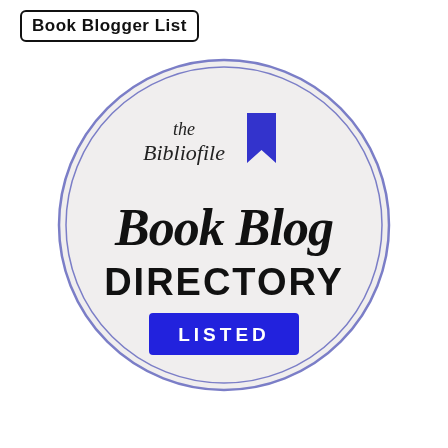[Figure (logo): Book Blogger List badge with black bordered rectangle label at top left. Below is a circular badge with light gray fill and medium-blue double ring border. Inside: 'the Bibliofile' in serif italic script, a blue bookmark icon, 'Book Blog' in large cursive script, 'DIRECTORY' in large bold sans-serif, and a filled blue rectangle with white text 'LISTED'.]